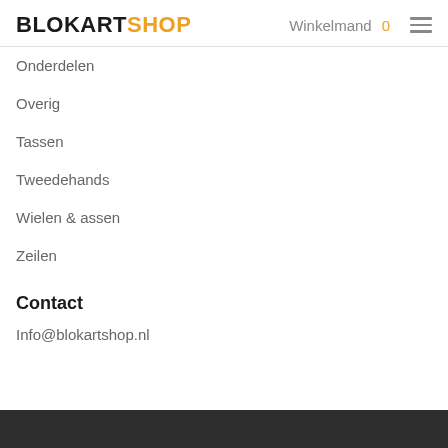BLOKARTSHOP  Winkelmand 0
Onderdelen
Overig
Tassen
Tweedehands
Wielen & assen
Zeilen
Contact
Info@blokartshop.nl
© 2023 Blokartshop